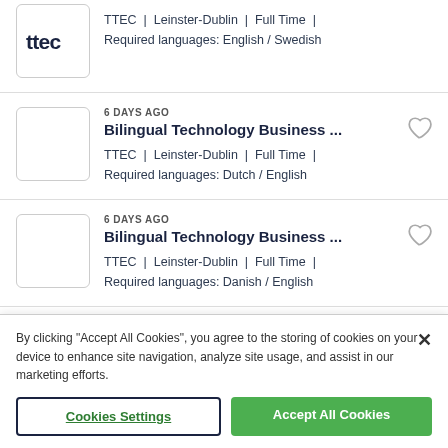TTEC | Leinster-Dublin | Full Time | Required languages: English / Swedish
6 DAYS AGO
Bilingual Technology Business ...
TTEC | Leinster-Dublin | Full Time | Required languages: Dutch / English
6 DAYS AGO
Bilingual Technology Business ...
TTEC | Leinster-Dublin | Full Time | Required languages: Danish / English
By clicking "Accept All Cookies", you agree to the storing of cookies on your device to enhance site navigation, analyze site usage, and assist in our marketing efforts.
Cookies Settings
Accept All Cookies